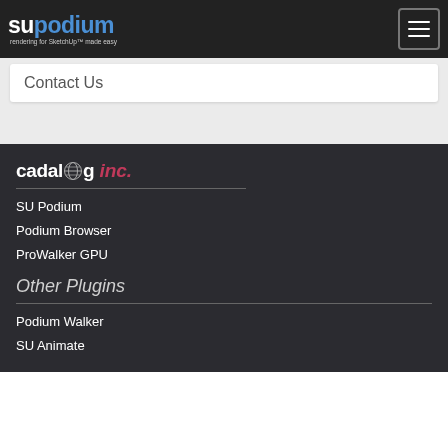[Figure (logo): SU Podium logo - text logo with 'su' in white and 'podium' in blue on dark background, with tagline 'rendering for SketchUp made easy']
[Figure (other): Hamburger menu button icon - three horizontal lines in a bordered square]
Contact Us
[Figure (logo): Cadalog Inc. logo - white bold text 'cadalog' with globe icon and red italic 'inc.' text on dark background]
SU Podium
Podium Browser
ProWalker GPU
Other Plugins
Podium Walker
SU Animate